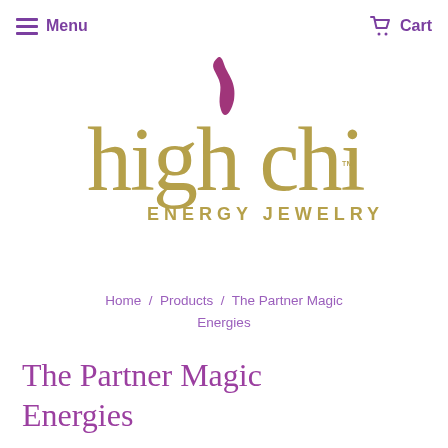Menu  Cart
[Figure (logo): High Chi Energy Jewelry logo with a purple flame above stylized golden lettering 'high chi' and 'ENERGY JEWELRY' below in gold]
Home / Products / The Partner Magic Energies
The Partner Magic Energies